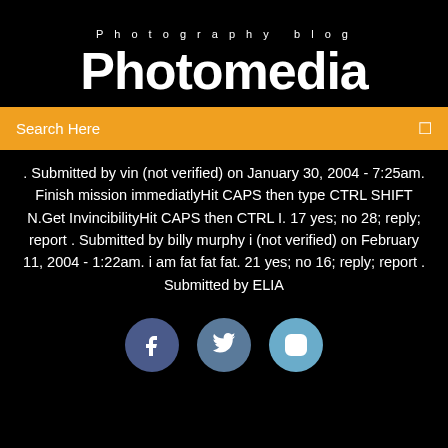Photography blog
Photomedia
Search Here
. Submitted by vin (not verified) on January 30, 2004 - 7:25am. Finish mission immediatlyHit CAPS then type CTRL SHIFT N.Get InvincibilityHit CAPS then CTRL I. 17 yes; no 28; reply; report . Submitted by billy murphy i (not verified) on February 11, 2004 - 1:22am. i am fat fat fat. 21 yes; no 16; reply; report . Submitted by ELIA
[Figure (illustration): Three social media icon circles: Facebook (dark blue), Twitter (medium blue), Instagram (light blue)]